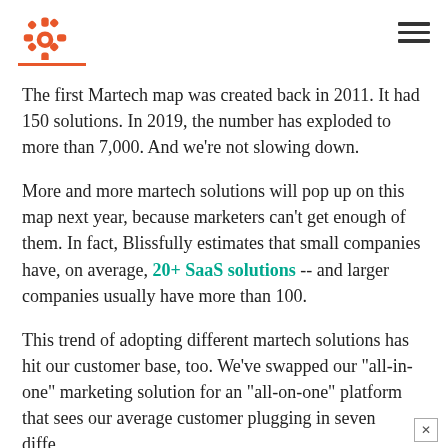HubSpot logo and navigation
The first Martech map was created back in 2011. It had 150 solutions. In 2019, the number has exploded to more than 7,000. And we're not slowing down.
More and more martech solutions will pop up on this map next year, because marketers can't get enough of them. In fact, Blissfully estimates that small companies have, on average, 20+ SaaS solutions -- and larger companies usually have more than 100.
This trend of adopting different martech solutions has hit our customer base, too. We've swapped our "all-in-one" marketing solution for an "all-on-one" platform that sees our average customer plugging in seven diffe